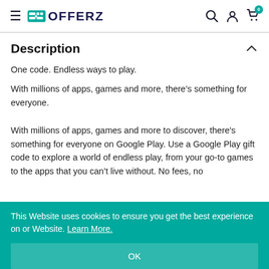OFFERZ — navigation header with hamburger menu, logo, search, account, and cart icons
Description
One code. Endless ways to play.
With millions of apps, games and more, there’s something for everyone.
With millions of apps, games and more to discover, there's something for everyone on Google Play. Use a Google Play gift code to explore a world of endless play, from your go-to games to the apps that you can’t live without. No fees, no
This Website uses cookies to ensure you get the best experience on or Website. Learn More.
OK